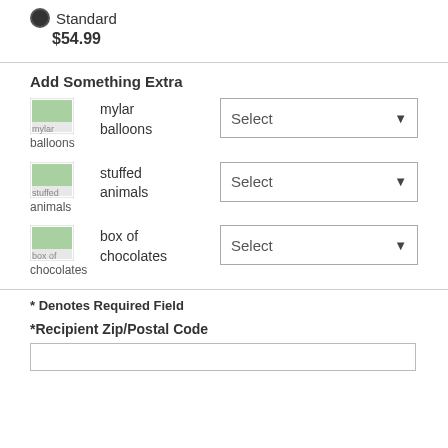Standard $54.99
Add Something Extra
mylar balloons — Select
stuffed animals — Select
box of chocolates — Select
* Denotes Required Field
*Recipient Zip/Postal Code